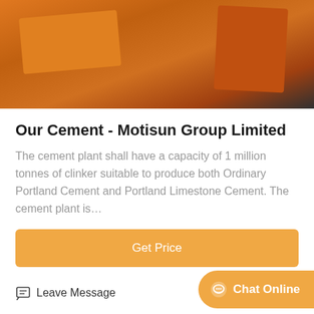[Figure (photo): Orange industrial machinery/equipment photographed from above in a factory setting]
Our Cement - Motisun Group Limited
The cement plant shall have a capacity of 1 million tonnes of clinker suitable to produce both Ordinary Portland Cement and Portland Limestone Cement. The cement plant is…
[Figure (photo): Blue industrial cone crusher or cement plant machinery in a factory setting]
Leave Message   Chat Online